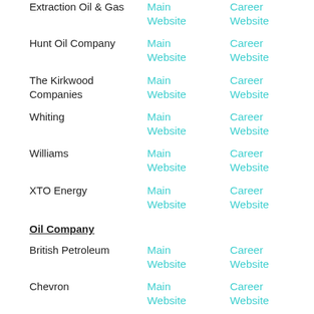Extraction Oil & Gas | Main Website | Career Website
Hunt Oil Company | Main Website | Career Website
The Kirkwood Companies | Main Website | Career Website
Whiting | Main Website | Career Website
Williams | Main Website | Career Website
XTO Energy | Main Website | Career Website
Oil Company
British Petroleum | Main Website | Career Website
Chevron | Main Website | Career Website
Conoco Phillips | Main Website | Career Website